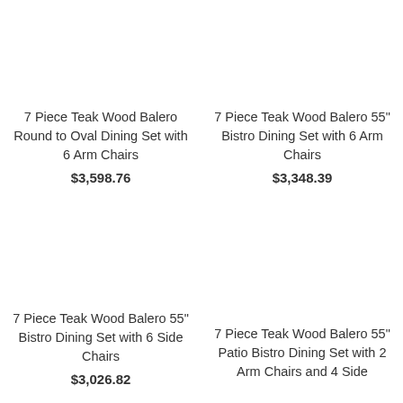7 Piece Teak Wood Balero Round to Oval Dining Set with 6 Arm Chairs
$3,598.76
7 Piece Teak Wood Balero 55" Bistro Dining Set with 6 Arm Chairs
$3,348.39
7 Piece Teak Wood Balero 55" Bistro Dining Set with 6 Side Chairs
$3,026.82
7 Piece Teak Wood Balero 55" Patio Bistro Dining Set with 2 Arm Chairs and 4 Side